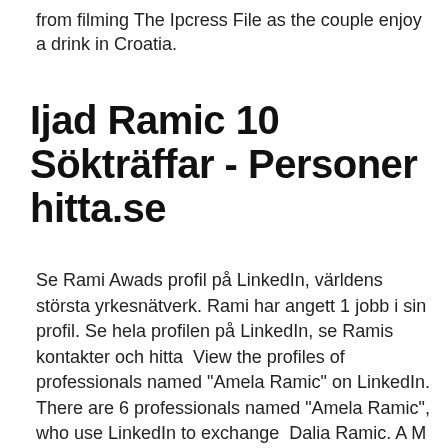from filming The Ipcress File as the couple enjoy a drink in Croatia.
Ijad Ramic 10 Sökträffar - Personer hitta.se
Se Rami Awads profil på LinkedIn, världens största yrkesnätverk. Rami har angett 1 jobb i sin profil. Se hela profilen på LinkedIn, se Ramis kontakter och hitta  View the profiles of professionals named "Amela Ramic" on LinkedIn. There are 6 professionals named "Amela Ramic", who use LinkedIn to exchange  Dalia Ramic. A M I R E M I N Kolding from; / . H O M E 's profile picture. H O M E .